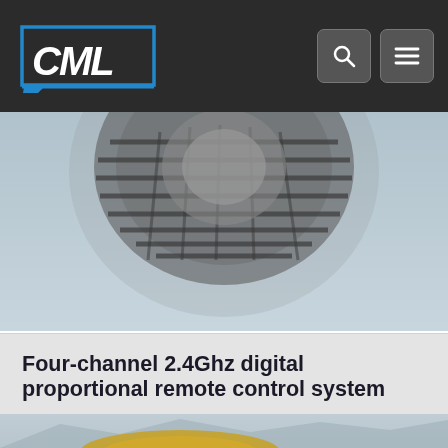CML — navigation header with logo, search and menu buttons
[Figure (photo): Close-up photo of a large off-road RC tire tread against a light blue-grey background]
Four-channel 2.4Ghz digital proportional remote control system
For the electronic system, a 4-channel digital proportional remote control system is applied. In addition to 1&2 channels for steering and throttle control, the 3rd channel controls the gearshift and the 4th channel switching between 4WD and RWD.
[Figure (photo): Partial view of a golden/yellow RC car model at the bottom of the page against a mountain landscape background]